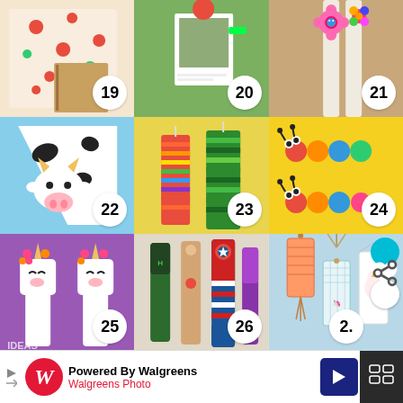[Figure (photo): Grid of 9 DIY bookmark craft ideas numbered 19–27, showing colorful handmade bookmarks including polka dot corner bookmark (19), polaroid photo bookmark (20), foam flower button bookmark (21), origami cow corner bookmark (22), yarn woven bookmarks (23), caterpillar foam bookmarks (24), unicorn popsicle stick bookmarks (25), superhero popsicle stick bookmarks (26), decorative tassel bookmarks (27) with social media overlay showing 882 saves]
[Figure (screenshot): Advertisement banner: Powered By Walgreens / Walgreens Photo with Walgreens W logo, navigation arrow icon, and dark right panel]